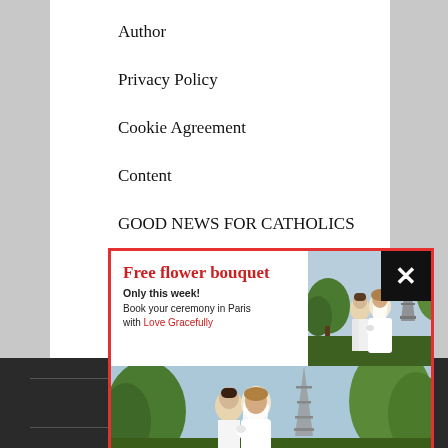Author
Privacy Policy
Cookie Agreement
Content
GOOD NEWS FOR CATHOLICS
Bibl
[Figure (photo): Popup advertisement overlay showing a couple in wedding attire in front of the Eiffel Tower in Paris, with text 'Free flower bouquet - Only this week! Book your ceremony in Paris with Love Gracefully'. Bottom section shows 'Elope in Paris / Love Gracefully' on a dark olive background. A black close button with X is in the top right corner.]